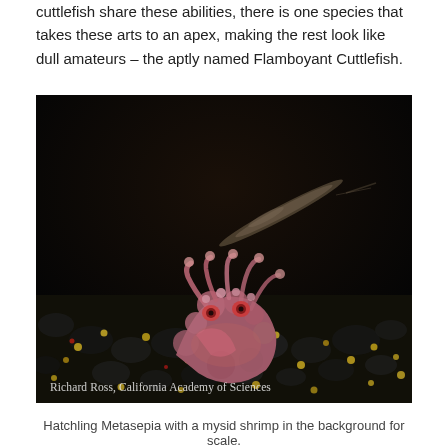cuttlefish share these abilities, there is one species that takes these arts to an apex, making the rest look like dull amateurs – the aptly named Flamboyant Cuttlefish.
[Figure (photo): Close-up photograph of a hatchling Metasepia (Flamboyant Cuttlefish) on dark rocky/sandy substrate with colored speckles, with a mysid shrimp blurred in the background. Watermark reads: Richard Ross, California Academy of Sciences.]
Hatchling Metasepia with a mysid shrimp in the background for scale.